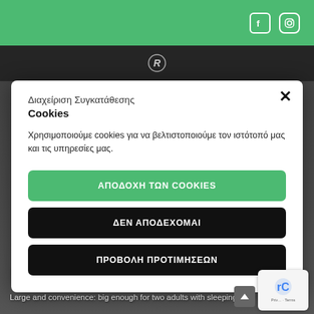[Figure (screenshot): Green top navigation bar with Facebook and Instagram social icons on the right]
[Figure (logo): Website logo (stylized R in circle) on dark navigation bar]
Διαχείριση Συγκατάθεσης Cookies
Χρησιμοποιούμε cookies για να βελτιστοποιούμε τον ιστότοπό μας και τις υπηρεσίες μας.
ΑΠΟΔΟΧΗ ΤΩΝ COOKIES
ΔΕΝ ΑΠΟΔΕΧΟΜΑΙ
ΠΡΟΒΟΛΗ ΠΡΟΤΙΜΗΣΕΩΝ
Windproof
Large and convenience: big enough for two adults with sleeping